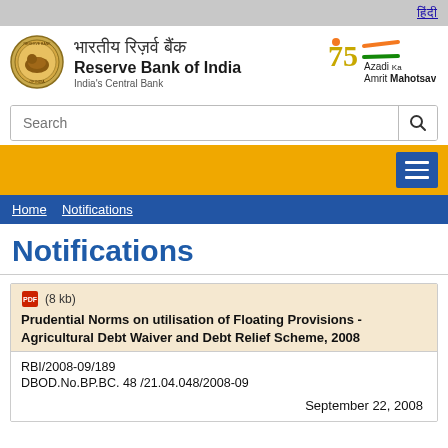हिंदी
[Figure (logo): Reserve Bank of India logo with circular seal]
भारतीय रिज़र्व बैंक
Reserve Bank of India
India's Central Bank
[Figure (logo): Azadi Ka Amrit Mahotsav 75 years logo with Indian flag motif]
Search
Home  Notifications
Notifications
(8 kb)
Prudential Norms on utilisation of Floating Provisions - Agricultural Debt Waiver and Debt Relief Scheme, 2008
RBI/2008-09/189
DBOD.No.BP.BC. 48 /21.04.048/2008-09
September 22, 2008